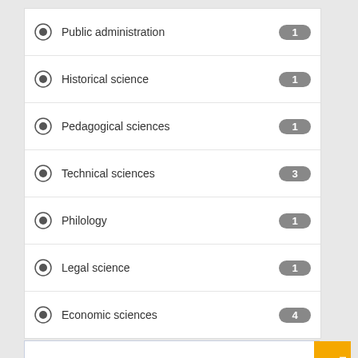Public administration — 1
Historical science — 1
Pedagogical sciences — 1
Technical sciences — 3
Philology — 1
Legal science — 1
Economic sciences — 4
UKRAINE'S STOCK MARKET IN 2018
Kaliuha O. A.